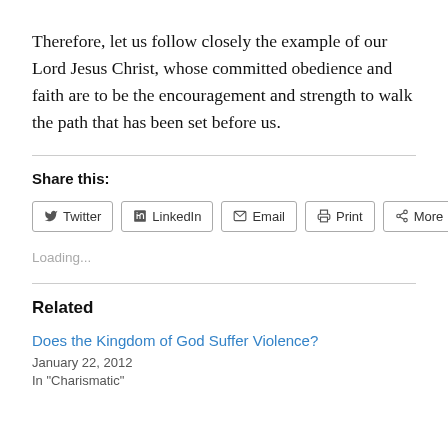Therefore, let us follow closely the example of our Lord Jesus Christ, whose committed obedience and faith are to be the encouragement and strength to walk the path that has been set before us.
Share this:
Loading...
Related
Does the Kingdom of God Suffer Violence?
January 22, 2012
In "Charismatic"